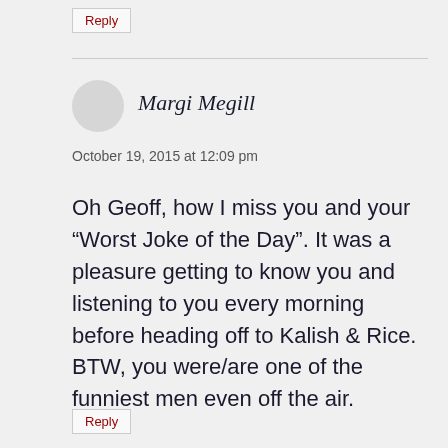Reply
Margi Megill
October 19, 2015 at 12:09 pm
Oh Geoff, how I miss you and your “Worst Joke of the Day”. It was a pleasure getting to know you and listening to you every morning before heading off to Kalish & Rice. BTW, you were/are one of the funniest men even off the air.
Reply